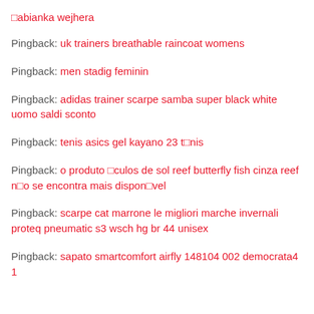⬜abianka wejhera
Pingback: uk trainers breathable raincoat womens
Pingback: men stadig feminin
Pingback: adidas trainer scarpe samba super black white uomo saldi sconto
Pingback: tenis asics gel kayano 23 t⬜nis
Pingback: o produto ⬜culos de sol reef butterfly fish cinza reef n⬜o se encontra mais dispon⬜vel
Pingback: scarpe cat marrone le migliori marche invernali proteq pneumatic s3 wsch hg br 44 unisex
Pingback: sapato smartcomfort airfly 148104 002 democrata4 1